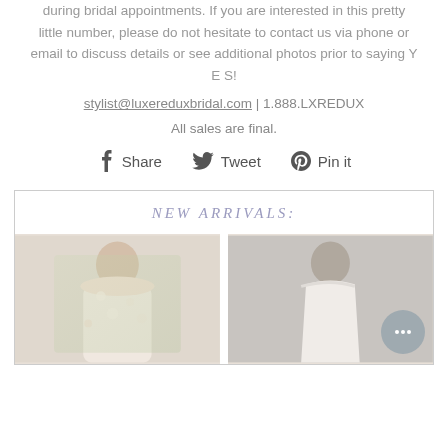during bridal appointments. If you are interested in this pretty little number, please do not hesitate to contact us via phone or email to discuss details or see additional photos prior to saying Y E S!
stylist@luxereduxbridal.com | 1.888.LXREDUX
All sales are final.
Share  Tweet  Pin it
NEW ARRIVALS:
[Figure (photo): Two bridal gown product photos side by side: left shows a model in an off-shoulder lace/floral white gown outdoors; right shows a model in an off-shoulder fitted white gown against a neutral background. A chat bubble icon overlays the right image.]